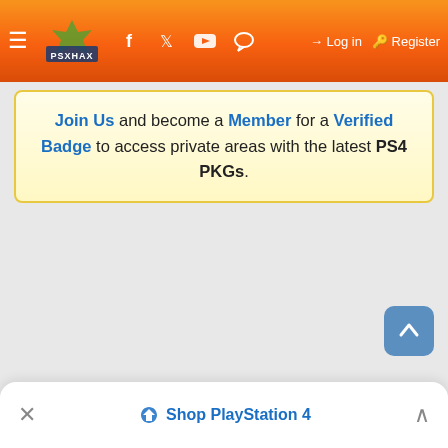≡ PSXHAX | Facebook | Twitter | YouTube | Forum | Log in | Register
Join Us and become a Member for a Verified Badge to access private areas with the latest PS4 PKGs.
✕  Shop PlayStation 4  ∧